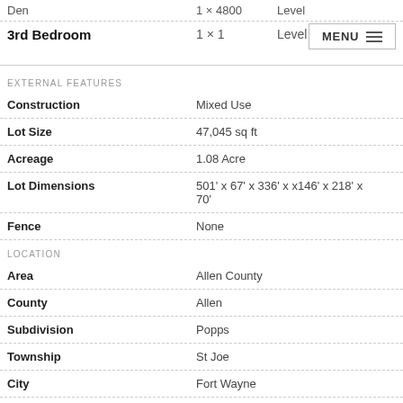| Feature | Value | Notes |
| --- | --- | --- |
| Den | 1 × 4800 | Level |
| 3rd Bedroom | 1 × 1 | Level |
EXTERNAL FEATURES
| Feature | Value |
| --- | --- |
| Construction | Mixed Use |
| Lot Size | 47,045 sq ft |
| Acreage | 1.08 Acre |
| Lot Dimensions | 501' x 67' x 336' x x146' x 218' x 70' |
| Fence | None |
LOCATION
| Feature | Value |
| --- | --- |
| Area | Allen County |
| County | Allen |
| Subdivision | Popps |
| Township | St Joe |
| City | Fort Wayne |
| State | IN |